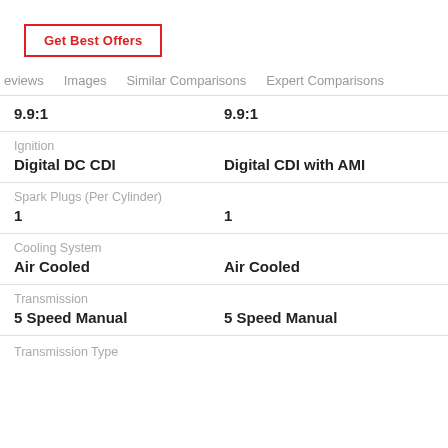[Figure (other): Get Best Offers button with red border]
eviews   Images   Similar Comparisons   Expert Comparisons
| 9.9:1 | 9.9:1 |
| Ignition |  |
| Digital DC CDI | Digital CDI with AMI |
| Spark Plugs (Per Cylinder) |  |
| 1 | 1 |
| Cooling System |  |
| Air Cooled | Air Cooled |
| Transmission |  |
| 5 Speed Manual | 5 Speed Manual |
| Transmission Type |  |